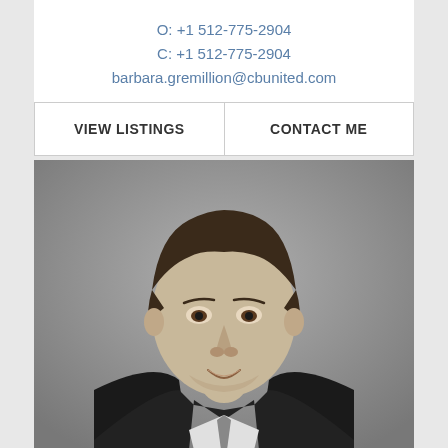O: +1 512-775-2904
C: +1 512-775-2904
barbara.gremillion@cbunited.com
| VIEW LISTINGS | CONTACT ME |
| --- | --- |
[Figure (photo): Black and white headshot photo of a man in a suit, smiling slightly, with short dark hair, against a grey background.]